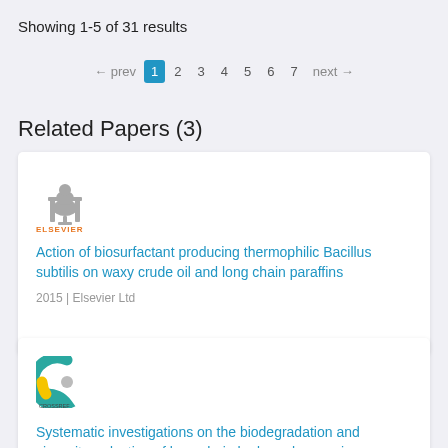Showing 1-5 of 31 results
← prev  1  2  3  4  5  6  7  next →
Related Papers (3)
[Figure (logo): Elsevier logo with tree and ELSEVIER text in orange]
Action of biosurfactant producing thermophilic Bacillus subtilis on waxy crude oil and long chain paraffins
2015 | Elsevier Ltd
[Figure (logo): Crossref / Crossref Funder Registry circular logo in green/blue/yellow]
Systematic investigations on the biodegradation and viscosity reduction of long chain hydrocarbons using